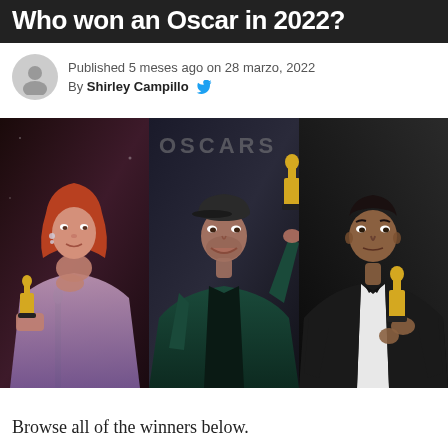Who won an Oscar in 2022?
Published 5 meses ago on 28 marzo, 2022
By Shirley Campillo
[Figure (photo): Three panel photo: left - a red-haired woman in sparkly dress holding Oscar at a microphone; center - a man in flat cap and teal jacket raising Oscar trophy; right - a man in black tuxedo holding Oscar at a microphone]
Browse all of the winners below.